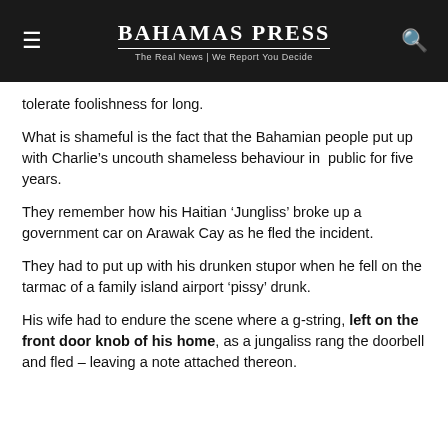BAHAMAS PRESS | The Real News | We Report You Decide
tolerate foolishness for long.
What is shameful is the fact that the Bahamian people put up with Charlie’s uncouth shameless behaviour in  public for five years.
They remember how his Haitian ‘Jungliss’ broke up a government car on Arawak Cay as he fled the incident.
They had to put up with his drunken stupor when he fell on the tarmac of a family island airport ‘pissy’ drunk.
His wife had to endure the scene where a g-string, left on the front door knob of his home, as a jungaliss rang the doorbell and fled – leaving a note attached thereon.